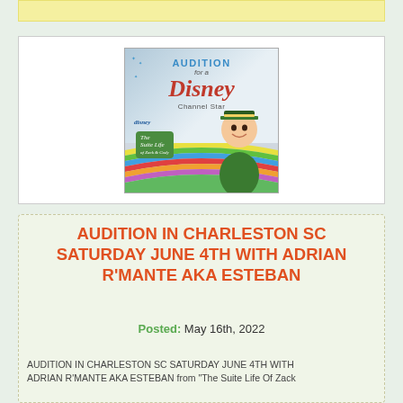[Figure (illustration): Promotional poster for 'Audition for a Disney Channel Star' featuring The Suite Life of Zack and Cody, with a smiling young man in a green bellhop uniform and rainbow stripes]
AUDITION IN CHARLESTON SC SATURDAY JUNE 4TH WITH ADRIAN R'MANTE AKA ESTEBAN
Posted: May 16th, 2022
AUDITION IN CHARLESTON SC SATURDAY JUNE 4TH WITH ADRIAN R'MANTE AKA ESTEBAN from "The Suite Life Of Zack